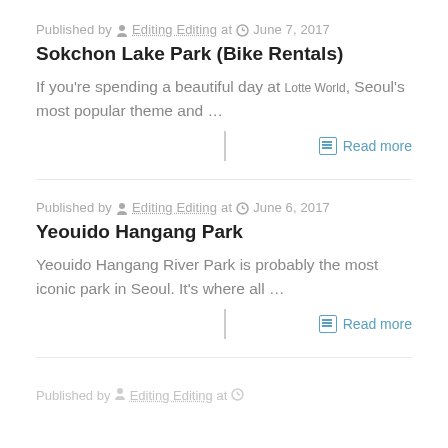Published by Editing Editing at June 7, 2017
Sokchon Lake Park (Bike Rentals)
If you're spending a beautiful day at Lotte World, Seoul's most popular theme and …
Read more
Published by Editing Editing at June 6, 2017
Yeouido Hangang Park
Yeouido Hangang River Park is probably the most iconic park in Seoul. It's where all …
Read more
Published by Editing Editing at